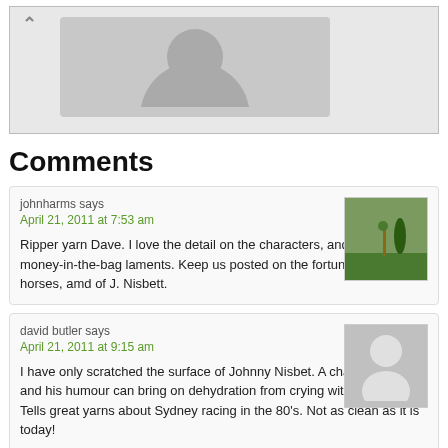[Figure (illustration): Top gray banner area with upward arrow and avatar placeholder silhouette]
Comments
johnharms says
April 21, 2011 at 7:53 am

Ripper yarn Dave. I love the detail on the characters, and the left-the-money-in-the-bag laments. Keep us posted on the fortunes of your horses, amd of J. Nisbett.
david butler says
April 21, 2011 at 9:15 am

I have only scratched the surface of Johnny Nisbet. A champion bloke and his humour can bring on dehydration from crying with laughter. Tells great yarns about Sydney racing in the 80's. Not as clean as it is today!

Mickey Moose had a winner last Wednesday in Sydney with Rav... Goro. His city class sprinter Century Serb broke its leg a month ago at...